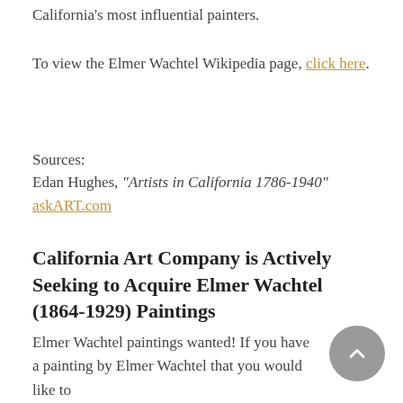California's most influential painters.
To view the Elmer Wachtel Wikipedia page, click here.
Sources:
Edan Hughes, "Artists in California 1786-1940"
askART.com
California Art Company is Actively Seeking to Acquire Elmer Wachtel (1864-1929) Paintings
Elmer Wachtel paintings wanted! If you have a painting by Elmer Wachtel that you would like to sell, please contact us. Our mission is to locate and acquire...